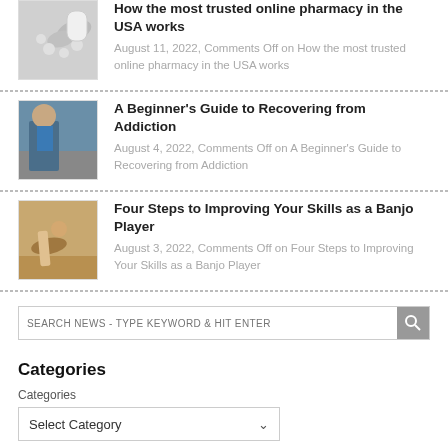[Figure (photo): Pills spilling from a white bottle]
How the most trusted online pharmacy in the USA works
August 11, 2022, Comments Off on How the most trusted online pharmacy in the USA works
[Figure (photo): Person in blue jacket outdoors]
A Beginner's Guide to Recovering from Addiction
August 4, 2022, Comments Off on A Beginner's Guide to Recovering from Addiction
[Figure (photo): Hands playing banjo]
Four Steps to Improving Your Skills as a Banjo Player
August 3, 2022, Comments Off on Four Steps to Improving Your Skills as a Banjo Player
SEARCH NEWS - TYPE KEYWORD & HIT ENTER
Categories
Categories
Select Category
Archives